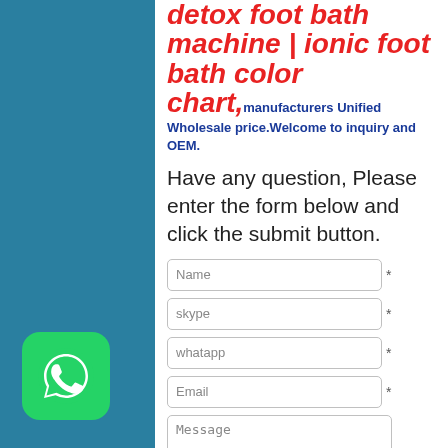detox foot bath machine | ionic foot bath color chart, manufacturers Unified Wholesale price.Welcome to inquiry and OEM.
Have any question, Please enter the form below and click the submit button.
[Figure (screenshot): Web contact form with fields: Name, skype, whatapp, Email, Message, each with asterisk required marker]
[Figure (logo): WhatsApp icon - green rounded square with white phone handset chat bubble logo]